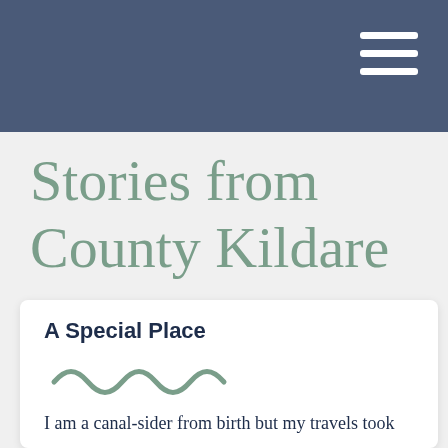Stories from County Kildare
A Special Place
[Figure (illustration): Decorative wavy line ornament in sage green]
I am a canal-sider from birth but my travels took